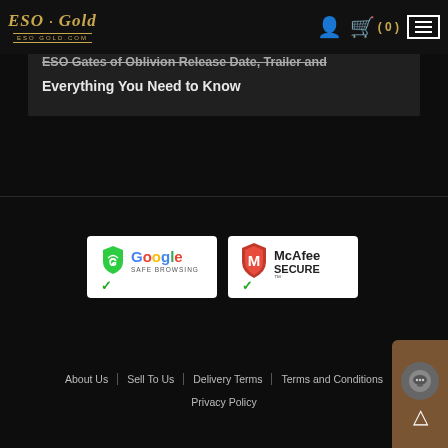ESO-Gold | ESO Gold.com
ESO Gates of Oblivion Release Date, Trailer and Everything You Need to Know
[Figure (logo): Google Safe Browsing badge with green shield and checkmark]
[Figure (logo): McAfee SECURE badge with red M shield]
About Us | Sell To Us | Delivery Terms | Terms and Conditions | Privacy Policy